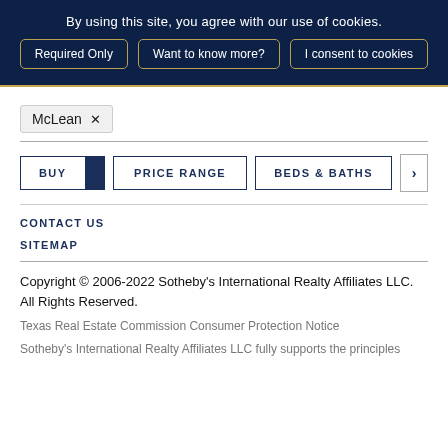By using this site, you agree with our use of cookies.
Required Only | Want to know more? | I consent to cookies
McLean ×
BUY | RENT | PRICE RANGE | BEDS & BATHS | >
CONTACT US
SITEMAP
Copyright © 2006-2022 Sotheby's International Realty Affiliates LLC. All Rights Reserved.
Texas Real Estate Commission Consumer Protection Notice
Sotheby's International Realty Affiliates LLC fully supports the principles